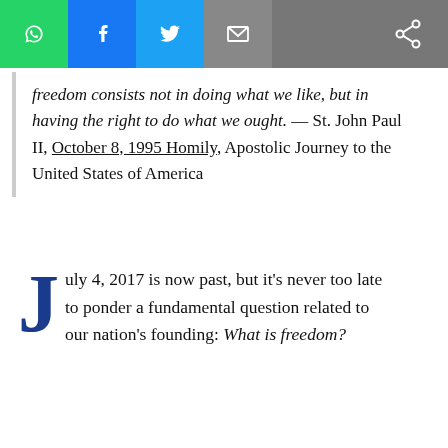[Figure (other): Social sharing toolbar with WhatsApp, Facebook, Twitter, email, and generic share icons]
freedom consists not in doing what we like, but in having the right to do what we ought.  — St. John Paul II, October 8, 1995 Homily, Apostolic Journey to the United States of America
July 4, 2017 is now past, but it's never too late to ponder a fundamental question related to our nation's founding: What is freedom?